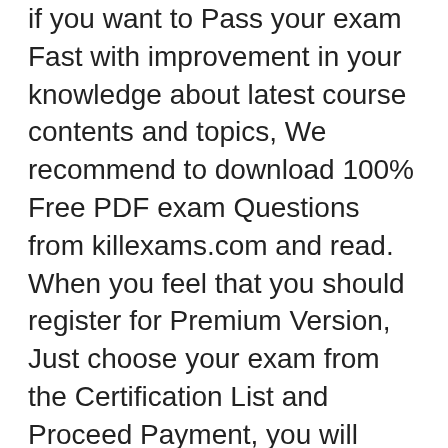if you want to Pass your exam Fast with improvement in your knowledge about latest course contents and topics, We recommend to download 100% Free PDF exam Questions from killexams.com and read. When you feel that you should register for Premium Version, Just choose your exam from the Certification List and Proceed Payment, you will receive your Username/Password in your Email within 5 to 10 minutes. All the future updates and changes in Questions and Answers will be provided in your MyAccount section. You can download Premium exam Dumps files as many times as you want, There is no limit.